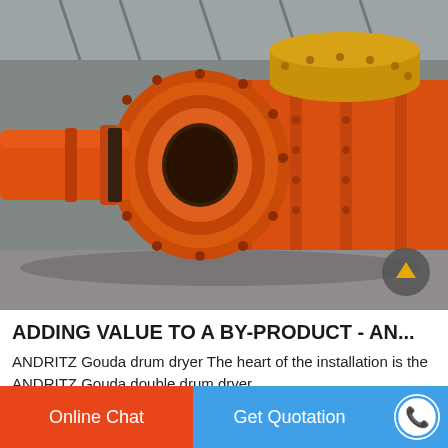[Figure (photo): Large orange industrial drum dryer or ball mill equipment photographed in a factory/warehouse setting. The cylindrical machine is orange with bolted flanges and appears to be an ANDRITZ Gouda double drum dryer lying horizontally on the factory floor.]
ADDING VALUE TO A BY-PRODUCT - AN...
ANDRITZ Gouda drum dryer The heart of the installation is the ANDRITZ Gouda double drum drver....